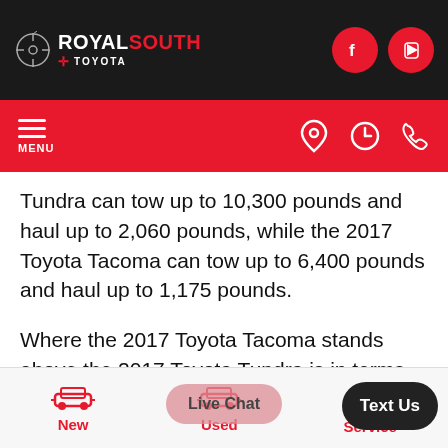Royal South Toyota - navigation header with logo, social icons, menu bar
Tundra can tow up to 10,300 pounds and haul up to 2,060 pounds, while the 2017 Toyota Tacoma can tow up to 6,400 pounds and haul up to 1,175 pounds.
Where the 2017 Toyota Tacoma stands above the 2017 Toyota Tundra is in terms of price. Both trucks are incredibly affordable, though the new Toyota Tacoma is the cheaper of the two.
If you'd like to know more about everything the 2017
New | Used | Service - bottom navigation bar with Live Chat and Text Us buttons